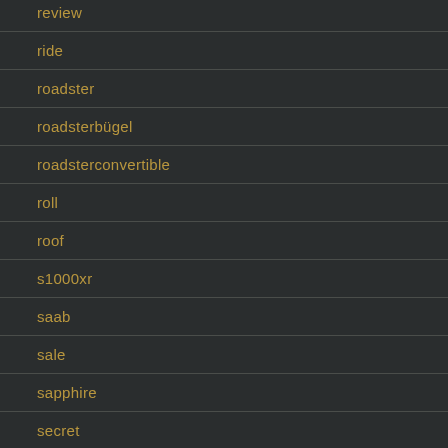review
ride
roadster
roadsterbügel
roadsterconvertible
roll
roof
s1000xr
saab
sale
sapphire
secret
series